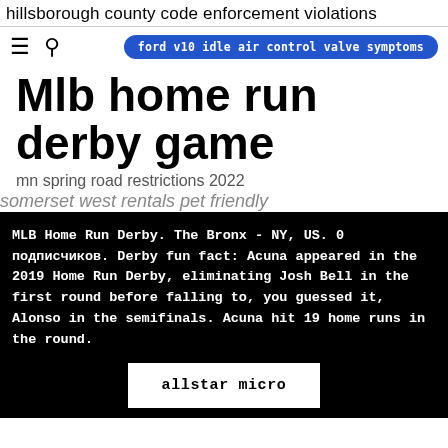hillsborough county code enforcement violations
ford v10 idle air control valve symptoms
Mlb home run derby game
mn spring road restrictions 2022
somerset west rentals pet friendly
MLB Home Run Derby. The Bronx - NY, US. 0 подписчиков. Derby fun fact: Acuna appeared in the 2019 Home Run Derby, eliminating Josh Bell in the first round before falling to, you guessed it, Alonso in the semifinals. Acuna hit 19 home runs in the round.
allstar micro